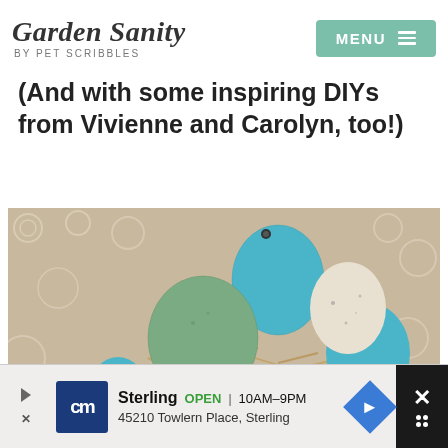Garden Sanity by Pet Scribbles | MENU
(And with some inspiring DIYs from Vivienne and Carolyn, too!)
[Figure (photo): A brown wicker or clay basket filled with shredded brown paper and colorful decorative eggs in turquoise, sage green, and speckled white/cream, arranged as a bird's nest display, set on a white lace tablecloth.]
Sterling  OPEN | 10AM–9PM  45210 Towlern Place, Sterling